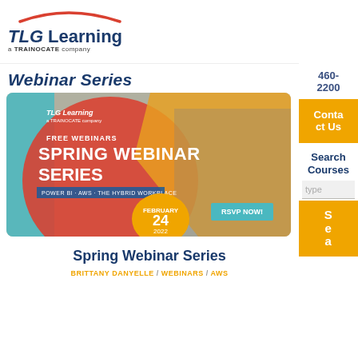[Figure (logo): TLG Learning - a TRAINOCATE company logo with red arc above text]
Webinar Series
[Figure (illustration): Spring Webinar Series promotional banner with TLG Learning logo, FREE WEBINARS text, SPRING WEBINAR SERIES heading, POWER BI - AWS - THE HYBRID WORKPLACE topics, FEBRUARY 24 2022 date, RSVP NOW button, colorful abstract background with person on laptop]
Spring Webinar Series
BRITTANY DANYELLE / Webinars / AWS
460-2200
Contact Us
Search Courses
type
Sea